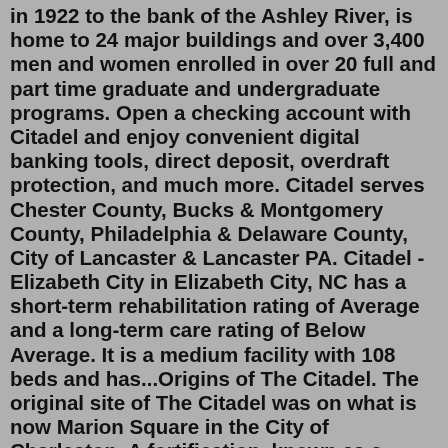in 1922 to the bank of the Ashley River, is home to 24 major buildings and over 3,400 men and women enrolled in over 20 full and part time graduate and undergraduate programs. Open a checking account with Citadel and enjoy convenient digital banking tools, direct deposit, overdraft protection, and much more. Citadel serves Chester County, Bucks & Montgomery County, Philadelphia & Delaware County, City of Lancaster & Lancaster PA. Citadel - Elizabeth City in Elizabeth City, NC has a short-term rehabilitation rating of Average and a long-term care rating of Below Average. It is a medium facility with 108 beds and has...Origins of The Citadel. The original site of The Citadel was on what is now Marion Square in the City of Charleston. A fortification, known as a “Horn works”, was established in Marion Square during the Revolutionary War. In 1783, this site was transferred to the City upon its incorporation as a municipality. The citadel of Jerusalem, known as the "Tower of David," has been a landmark of the city since ancient